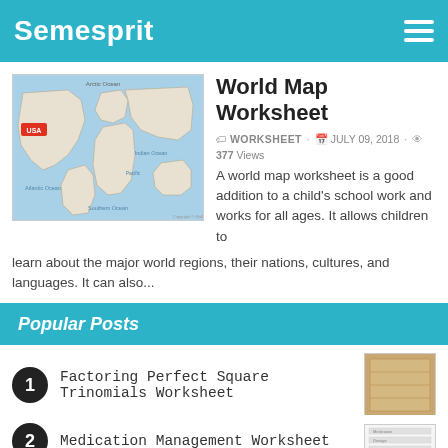Semesprit
[Figure (map): World map showing continents and oceans with USA labeled in red on North America]
World Map Worksheet
WORKSHEET · JULY 09, 2018 · 377 Views
A world map worksheet is a good addition to a child's school work and works for all ages. It allows children to learn about the major world regions, their nations, cultures, and languages. It can also...
Popular Posts
1 Factoring Perfect Square Trinomials Worksheet
[Figure (photo): Thumbnail image of factoring perfect square trinomials worksheet - paper texture]
2 Medication Management Worksheet
[Figure (photo): Thumbnail image of medication management worksheet]